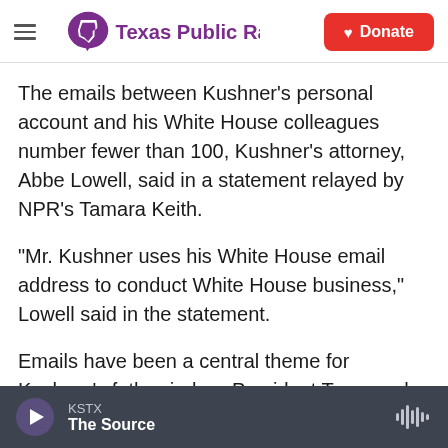Texas Public Radio — Donate
The emails between Kushner's personal account and his White House colleagues number fewer than 100, Kushner's attorney, Abbe Lowell, said in a statement relayed by NPR's Tamara Keith.
"Mr. Kushner uses his White House email address to conduct White House business," Lowell said in the statement.
Emails have been a central theme for Kushner's father-in-law, President Trump, who has repeatedly said that Democratic rival Hillary Clinton should face federal criminal charges over her use of
KSTX — The Source